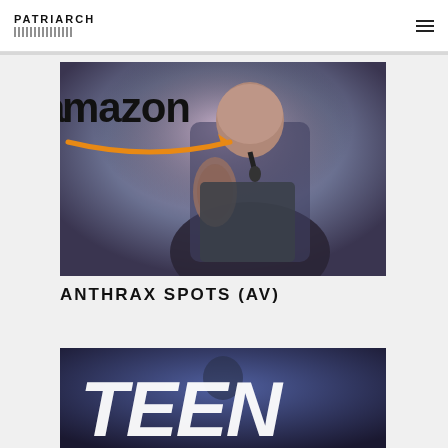PATRIARCH
[Figure (photo): Concert photo of a bald tattooed male vocalist singing into a microphone, with Amazon logo partially overlaid in top-left corner. Bluish-purple stage lighting.]
ANTHRAX SPOTS (AV)
[Figure (photo): Dark concert photo with large bold white italic text reading TEEN overlay, performer visible in background.]